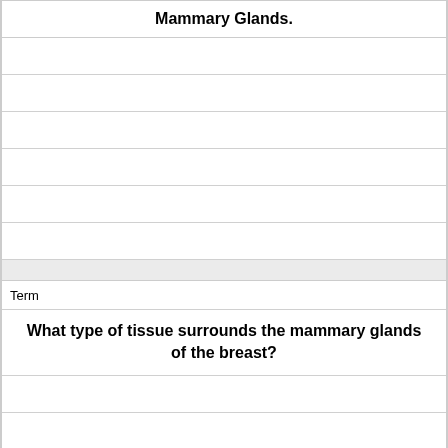Mammary Glands.
Term
What type of tissue surrounds the mammary glands of the breast?